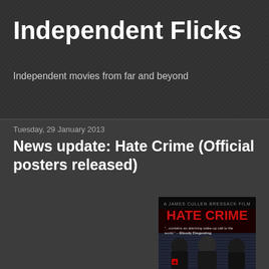Independent Flicks
Independent movies from far and beyond
Tuesday, 29 January 2013
News update: Hate Crime (Official posters released)
[Figure (photo): Movie poster for 'Hate Crime' - A James Cullen Bressack Film. Shows three masked figures (two in black ski masks, one bald with face paint) with text 'HATE CRIME' in large red letters and quote '...contains an alarming wake-up call to the world.' - Bloody Disgusting]